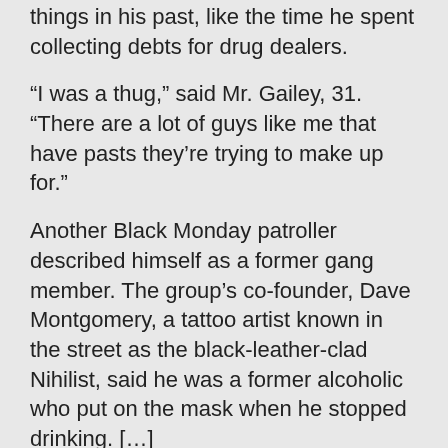things in his past, like the time he spent collecting debts for drug dealers.
“I was a thug,” said Mr. Gailey, 31. “There are a lot of guys like me that have pasts they’re trying to make up for.”
Another Black Monday patroller described himself as a former gang member. The group’s co-founder, Dave Montgomery, a tattoo artist known in the street as the black-leather-clad Nihilist, said he was a former alcoholic who put on the mask when he stopped drinking. […]